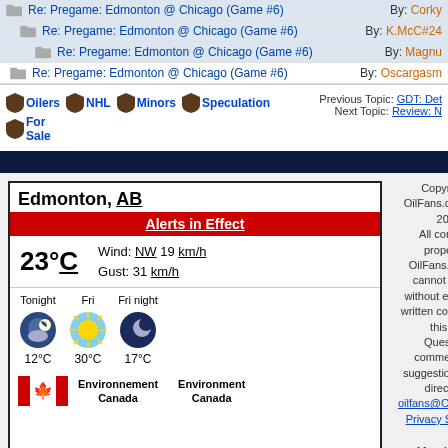Re: Pregame: Edmonton @ Chicago (Game #6) By: Corky
Re: Pregame: Edmonton @ Chicago (Game #6) By: K.McC#24
Re: Pregame: Edmonton @ Chicago (Game #6) By: Magnu
Re: Pregame: Edmonton @ Chicago (Game #6) By: Oscargasm
Oilers NHL Minors Speculation For Sale | Previous Topic: GDT: Det Next Topic: Review: N
[Figure (infographic): Edmonton AB weather widget showing Alerts in Effect, 23°C, Wind NW 19 km/h, Gust 31 km/h, Tonight 12°C, Fri 30°C, Fri night 17°C, Environment Canada logos]
Copyright © OilFans.com 1996-2022. All content is property of OilFans.com and cannot be used without expressed, written consent from this site. Questions, comments and suggestions can be directed to oilfans@OilFans.com Privacy Statement
Hosted by LogicalHosting.ca